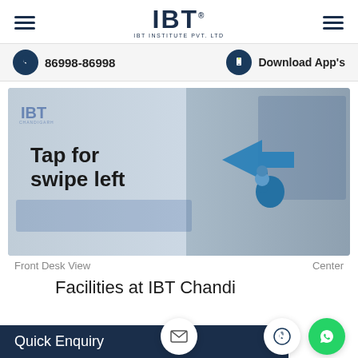[Figure (logo): IBT Institute Pvt. Ltd. logo with hamburger menu icons on both sides]
86998-86998
Download App's
[Figure (screenshot): IBT office front desk view with 'Tap for swipe left' overlay text and a pointing hand with arrow graphic]
Front Desk View
Center
Facilities at IBT Chandigarh
Quick Enquiry